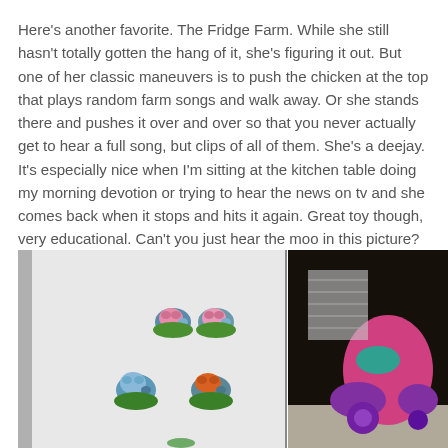Here's another favorite. The Fridge Farm. While she still hasn't totally gotten the hang of it, she's figuring it out. But one of her classic maneuvers is to push the chicken at the top that plays random farm songs and walk away. Or she stands there and pushes it over and over so that you never actually get to hear a full song, but clips of all of them. She's a deejay. It's especially nice when I'm sitting at the kitchen table doing my morning devotion or trying to hear the news on tv and she comes back when it stops and hits it again. Great toy though, very educational. Can't you just hear the moo in this picture?
[Figure (photo): Two side-by-side photos. Left: a white refrigerator surface with colorful animal-shaped magnets (two pink pigs at top, a blue sheep and orange cow below). Right: a pink and purple children's ride-on toy in a room with carpet.]